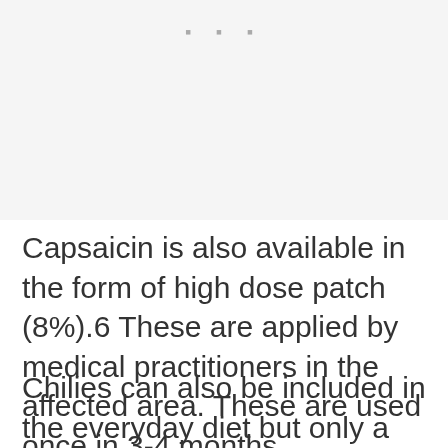[Figure (other): Placeholder image area with three small dots indicating an image]
Capsaicin is also available in the form of high dose patch (8%).6 These are applied by medical practitioners in the affected area. These are used once in 3-4 months.
Chilies can also be included in the everyday diet but only a limited amount is recommendable.